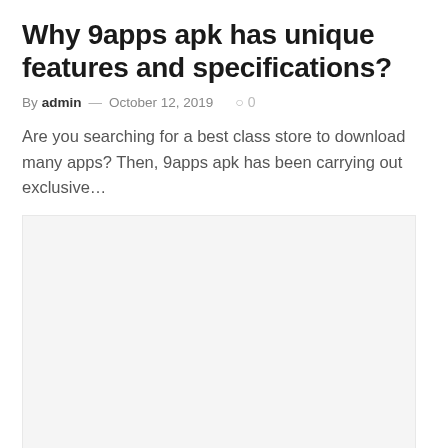Why 9apps apk has unique features and specifications?
By admin — October 12, 2019  ○ 0
Are you searching for a best class store to download many apps? Then, 9apps apk has been carrying out exclusive…
[Figure (other): Blank placeholder image area]
TECH
Managed IT Support Orange County